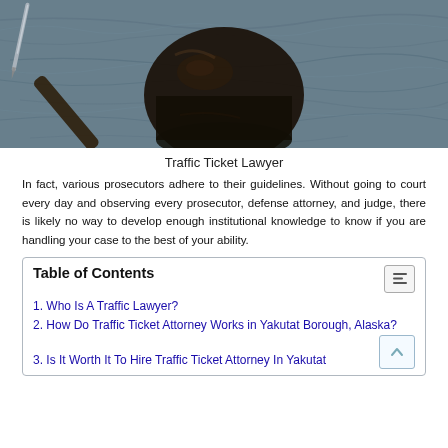[Figure (photo): Close-up photo of a dark wooden judge's gavel resting on a textured dark blue-grey surface, with a metal pen visible in the upper left corner.]
Traffic Ticket Lawyer
In fact, various prosecutors adhere to their guidelines. Without going to court every day and observing every prosecutor, defense attorney, and judge, there is likely no way to develop enough institutional knowledge to know if you are handling your case to the best of your ability.
Table of Contents
1. Who Is A Traffic Lawyer?
2. How Do Traffic Ticket Attorney Works in Yakutat Borough, Alaska?
3. Is It Worth It To Hire Traffic Ticket Attorney In Yakutat